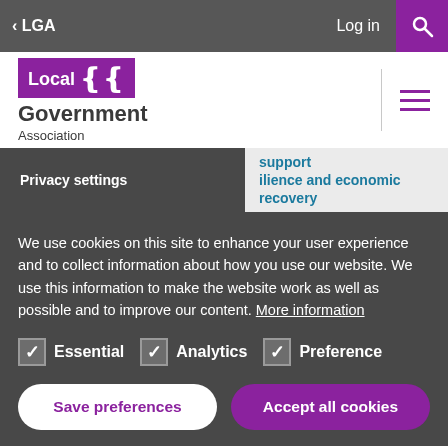< LGA  Log in  [search icon]
[Figure (logo): Local Government Association logo with purple block and curly bracket icon]
Privacy settings
support
resilience and economic recovery
We use cookies on this site to enhance your user experience and to collect information about how you use our website. We use this information to make the website work as well as possible and to improve our content. More information
Essential  Analytics  Preference
Save preferences  Accept all cookies